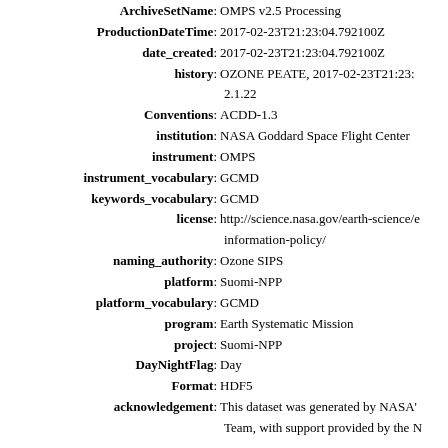ArchiveSetName: OMPS v2.5 Processing
ProductionDateTime: 2017-02-23T21:23:04.792100Z
date_created: 2017-02-23T21:23:04.792100Z
history: OZONE PEATE, 2017-02-23T21:23: 2.1.22
Conventions: ACDD-1.3
institution: NASA Goddard Space Flight Center
instrument: OMPS
instrument_vocabulary: GCMD
keywords_vocabulary: GCMD
license: http://science.nasa.gov/earth-science/earth-science-data/data-information-policy/
naming_authority: Ozone SIPS
platform: Suomi-NPP
platform_vocabulary: GCMD
program: Earth Systematic Mission
project: Suomi-NPP
DayNightFlag: Day
Format: HDF5
acknowledgement: This dataset was generated by NASA's Team, with support provided by the N